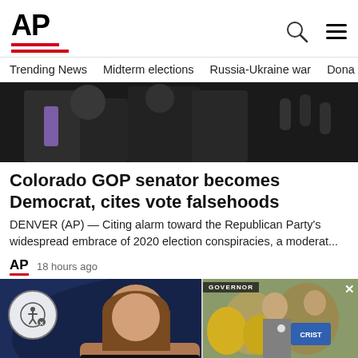AP
Trending News   Midterm elections   Russia-Ukraine war   Dona
[Figure (photo): Group of people in formal attire, one wearing a purple tie, with microphones visible]
Colorado GOP senator becomes Democrat, cites vote falsehoods
DENVER (AP) — Citing alarm toward the Republican Party's widespread embrace of 2020 election conspiracies, a moderat...
AP   18 hours ago
[Figure (photo): Woman with brown hair against a blue background (article thumbnail)]
[Figure (photo): DeSantis rival to e... — overlay card showing a political rally scene with CRIST signs]